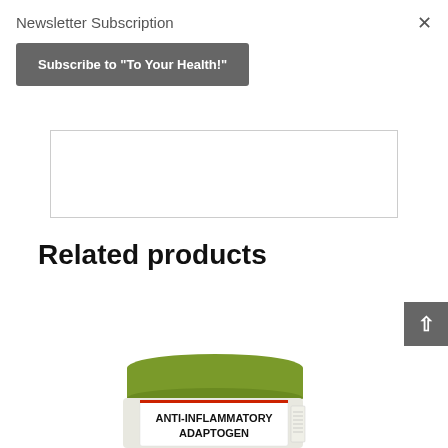Newsletter Subscription
Subscribe to "To Your Health!"
×
Related products
[Figure (photo): Green supplement jar labeled ANTI-INFLAMMATORY ADAPTOGEN, partially cropped showing top and label]